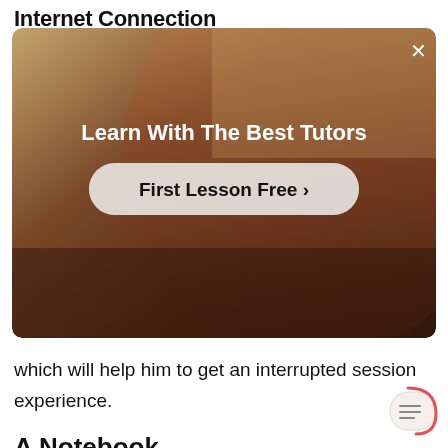Internet Connection
[Figure (screenshot): Ad overlay showing a tutor in a room with text 'Learn With The Best Tutors' and a 'First Lesson Free >' button, with an X close button in the top right corner.]
which will help him to get an interrupted session experience.
A Notebook
It would not be possible for the child to remember everything. Also, it would not be easy for him to switch on the computer over and over again to